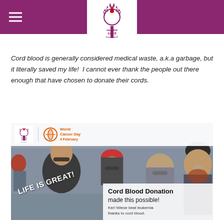Save the Cord Foundation
Cord blood is generally considered medical waste, a.k.a garbage, but it literally saved my life!  I cannot ever thank the people out there enough that have chosen to donate their cords.
[Figure (photo): Photo of four smiling people at a baseball stadium. A woman in black shirt with 'LIFE IS GREAT!' written on it, an older man in red cap, a woman with aviator sunglasses, and a man with red beard wearing a cap. Overlay text reads 'Cord Blood Donation made this possible! Keri Wiese beat leukemia thanks to cord blood.' Top strip shows Save the Cord Foundation logo and World Cancer Day 4 February logo.]